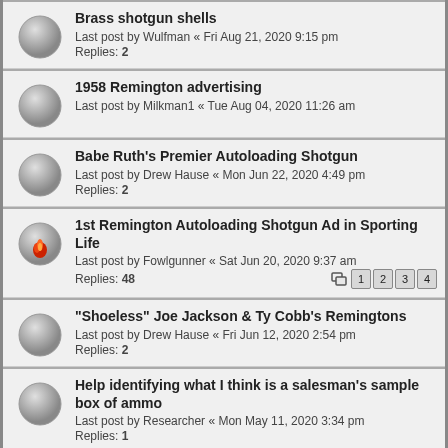Brass shotgun shells
Last post by Wulfman « Fri Aug 21, 2020 9:15 pm
Replies: 2
1958 Remington advertising
Last post by Milkman1 « Tue Aug 04, 2020 11:26 am
Babe Ruth's Premier Autoloading Shotgun
Last post by Drew Hause « Mon Jun 22, 2020 4:49 pm
Replies: 2
1st Remington Autoloading Shotgun Ad in Sporting Life
Last post by Fowlgunner « Sat Jun 20, 2020 9:37 am
Replies: 48
Pages: 1 2 3 4
"Shoeless" Joe Jackson & Ty Cobb's Remingtons
Last post by Drew Hause « Fri Jun 12, 2020 2:54 pm
Replies: 2
Help identifying what I think is a salesman's sample box of ammo
Last post by Researcher « Mon May 11, 2020 3:34 pm
Replies: 1
"Tried And True"
Last post by Drew Hause « Sun Jan 05, 2020 10:16 am